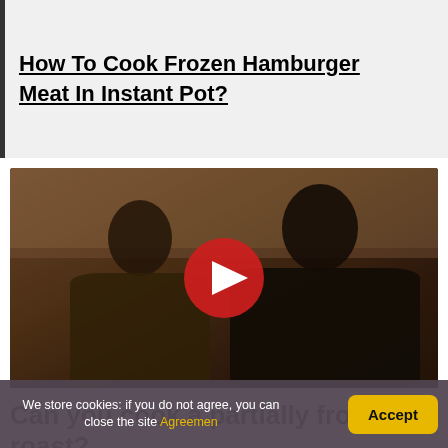How To Cook Frozen Hamburger Meat In Instant Pot?
[Figure (photo): YouTube video thumbnail showing a man and woman in a kitchen setting with a red YouTube play button overlay in the center]
Can you cook a partially frozen rib roast?
We store cookies: if you do not agree, you can close the site Agreemen
Accept